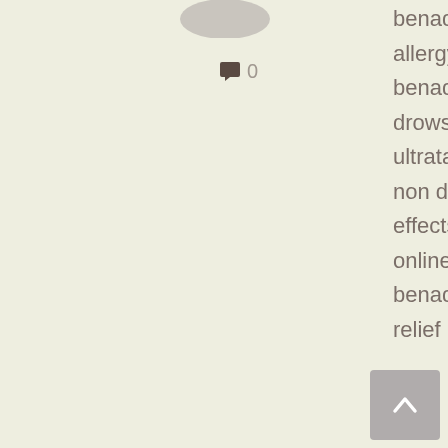[Figure (illustration): Circular avatar/profile image in gray/beige tone, partially visible at top]
💬 0
benadryl 25 mg, benadryl allergy, benadryl allergy dosage, benadryl allergy ingredients, benadryl allergy liqui gels, benadryl allergy non drowsy, benadryl allergy price, benadryl allergy ultratabs dosage, benadryl allergy ultratabs non drowsy, benadryl allergy ultratabs side effects, benadryl best price, benadryl buy online, benadryl capsule price philippines, benadryl cheapest price, benadryl congestion relief price,